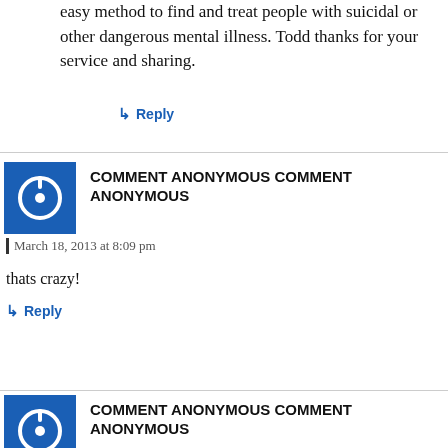easy method to find and treat people with suicidal or other dangerous mental illness. Todd thanks for your service and sharing.
↳ Reply
COMMENT ANONYMOUS COMMENT ANONYMOUS
March 18, 2013 at 8:09 pm
thats crazy!
↳ Reply
COMMENT ANONYMOUS COMMENT ANONYMOUS
March 18, 2013 at 8:09 pm